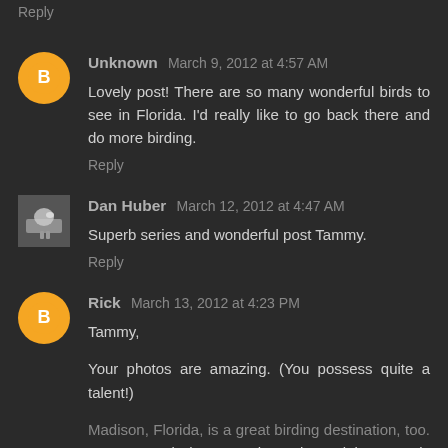Reply
Unknown  March 9, 2012 at 4:57 AM
Lovely post! There are so many wonderful birds to see in Florida. I'd really like to go back there and do more birding.
Reply
Dan Huber  March 12, 2012 at 4:47 AM
Superb series and wonderful post Tammy.
Reply
Rick  March 13, 2012 at 4:23 PM
Tammy,
Your photos are amazing. (You possess quite a talent!)
Madison, Florida, is a great birding destination, too. Our county is home to three rivers, lakes, ponds and swamps